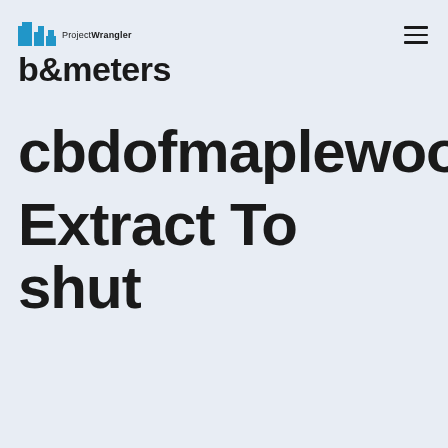ProjectWrangler b&meters
cbdofmaplewood Extract To shut